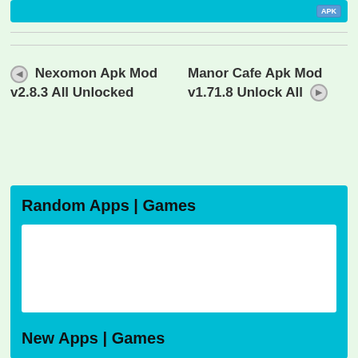[Figure (screenshot): Cyan/teal download button with APK badge at top right]
◀ Nexomon Apk Mod v2.8.3 All Unlocked
Manor Cafe Apk Mod v1.71.8 Unlock All ▶
Random Apps | Games
[Figure (other): White content box inside Random Apps section]
New Apps | Games